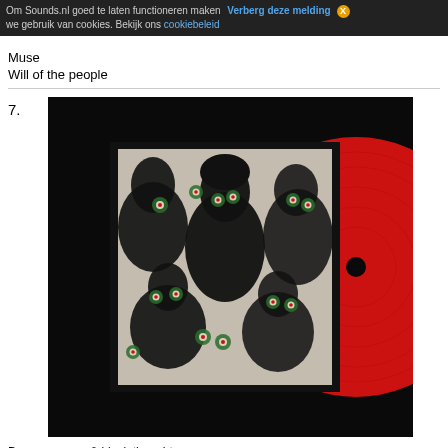Om Sounds.nl goed te laten functioneren maken we gebruik van cookies. Bekijk ons cookiebeleid  Verberg deze melding X
Muse
Will of the people
7.
[Figure (photo): Album cover showing band members with green target/eye symbols overlaid on faces, black and white with pop-art style, paired with a red vinyl record visible on the right side. Black background.]
Danger mouse & black thought
Cheat codes